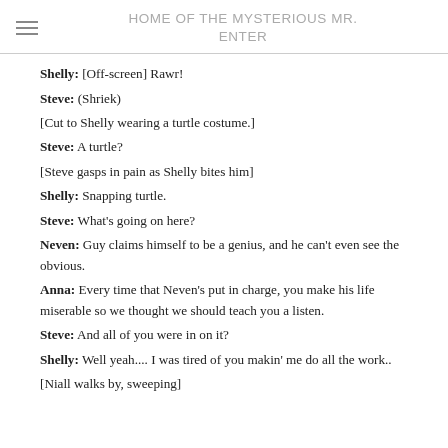HOME OF THE MYSTERIOUS MR. ENTER
Shelly: [Off-screen] Rawr!
Steve: (Shriek)
[Cut to Shelly wearing a turtle costume.]
Steve: A turtle?
[Steve gasps in pain as Shelly bites him]
Shelly: Snapping turtle.
Steve: What's going on here?
Neven: Guy claims himself to be a genius, and he can't even see the obvious.
Anna: Every time that Neven's put in charge, you make his life miserable so we thought we should teach you a listen.
Steve: And all of you were in on it?
Shelly: Well yeah.... I was tired of you makin' me do all the work..
[Niall walks by, sweeping]